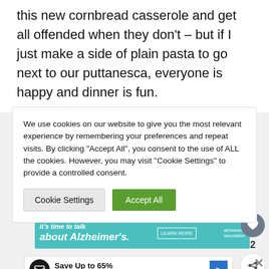this new cornbread casserole and get all offended when they don't – but if I just make a side of plain pasta to go next to our puttanesca, everyone is happy and dinner is fun.
We use cookies on our website to give you the most relevant experience by remembering your preferences and repeat visits. By clicking "Accept All", you consent to the use of ALL the cookies. However, you may visit "Cookie Settings" to provide a controlled consent.
[Figure (screenshot): Cookie consent banner with Cookie Settings and Accept All buttons]
[Figure (screenshot): Alzheimer's Association advertisement banner: It's time to talk about Alzheimer's. LEARN MORE]
[Figure (screenshot): Save Up to 65% Leesburg Premium Outlets advertisement banner with close button]